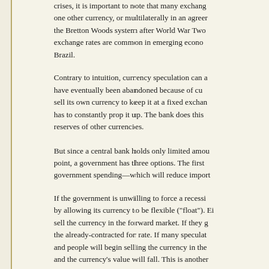crises, it is important to note that many exchange rates are pegged to one other currency, or multilaterally in an agreement between countries like the Bretton Woods system after World War Two. Today, pegged exchange rates are common in emerging economies such as China and Brazil.
Contrary to intuition, currency speculation can actually cause the crises that have eventually been abandoned because of currency crises. A central bank must sell its own currency to keep it at a fixed exchange rate if the market has to constantly prop it up. The bank does this by using its foreign reserves of other currencies.
But since a central bank holds only limited amounts of foreign currency, at some point, a government has three options. The first is austerity—reducing government spending—which will reduce imports...
If the government is unwilling to force a recession, it can end the peg by allowing its currency to be flexible ("float"). Either way, speculators sell the currency in the forward market. If they get a good enough price, the already-contracted for rate. If many speculators do this simultaneously, and people will begin selling the currency in the spot market as well, and the currency's value will fall. This is another example of herding others along with them, thus actually devaluing t